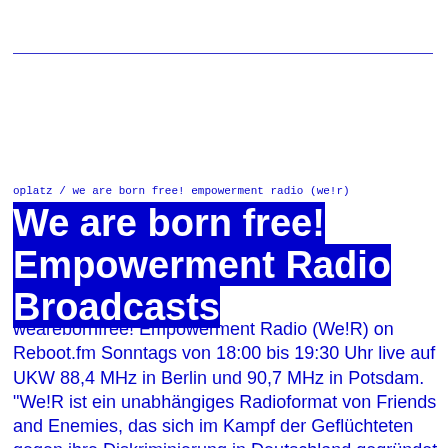oplatz / we are born free! empowerment radio (we!r)
We are born free! Empowerment Radio Broadcasts
wearebornfree! Empowerment Radio (We!R) on Reboot.fm Sonntags von 18:00 bis 19:30 Uhr live auf UKW 88,4 MHz in Berlin und 90,7 MHz in Potsdam. "We!R ist ein unabhängiges Radioformat von Friends and Enemies, das sich im Kampf der Geflüchteten gegen ihre Diskriminierung in Deutschland gegründet hat. Wir verbinden regionale soziale Kämpfe in einer antikapitalistischen Plattform, im…
Read more »